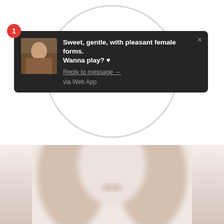[Figure (screenshot): No-image placeholder with circle outline and large light-grey 'NO IMAGE' text on white background]
[Figure (screenshot): Browser/app push notification popup on dark background. Shows a numbered badge '1', avatar thumbnail, bold text 'Sweet, gentle, with pleasant female forms. Wanna play? ♥', 'Reply to message →' link, and 'via Web App' text. Close (×) button in top-right.]
[Figure (photo): Blurred/faded photo of a light-haired person's lower face, very pale/washed out tones]